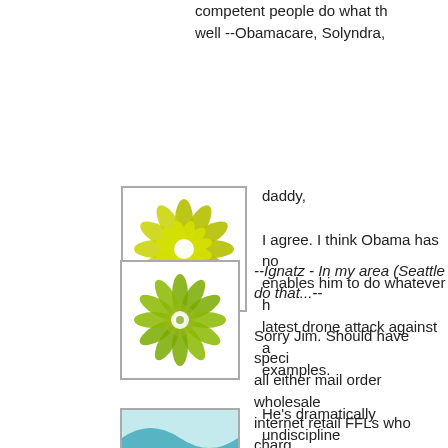competent people do what th… well --Obamacare, Solyndra,
[Figure (illustration): Square avatar icon with a green/yellow mandala flower pattern on white background]
daddy,

I agree. I think Obama has no… enables him to do whatever h… latest drone attack against a… examples.

He's dramatically undiscipline…
[Figure (illustration): Square avatar icon with a green mandala/starburst pattern on white background]
--Ignatz - In my area (Seattle… do that...--

Sorry Jim. Should have speci… all either mail order wholesale… internet retail FFLs who charg…
[Figure (illustration): Square avatar icon with blue/teal wave pattern, partially visible at bottom]